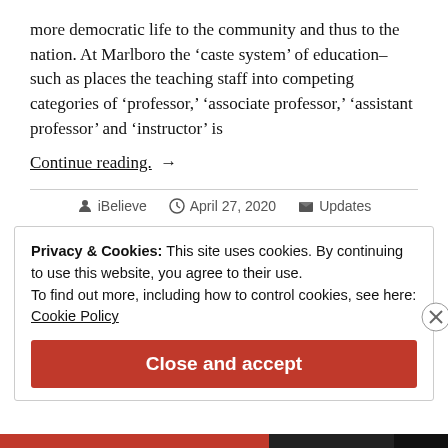more democratic life to the community and thus to the nation. At Marlboro the ‘caste system’ of education–such as places the teaching staff into competing categories of ‘professor,’ ‘associate professor,’ ‘assistant professor’ and ‘instructor’ is
Continue reading. →
iBelieve   April 27, 2020   Updates
Privacy & Cookies: This site uses cookies. By continuing to use this website, you agree to their use.
To find out more, including how to control cookies, see here:
Cookie Policy
Close and accept